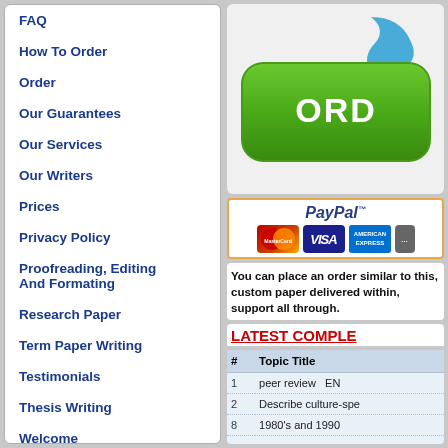FAQ
How To Order
Order
Our Guarantees
Our Services
Our Writers
Prices
Privacy Policy
Proofreading, Editing And Formating
Research Paper
Term Paper Writing
Testimonials
Thesis Writing
Welcome
[Figure (illustration): Green ORDER button with blue arrow on top]
[Figure (illustration): PayPal payment logos with MasterCard, VISA, American Express cards]
You can place an order similar to this, custom paper delivered within, support all through.
LATEST COMPLE
| # | Topic Title |
| --- | --- |
| 1 | peer review  EN |
| 2 | Describe culture-spe |
| 8 | 1980's and 1990 |